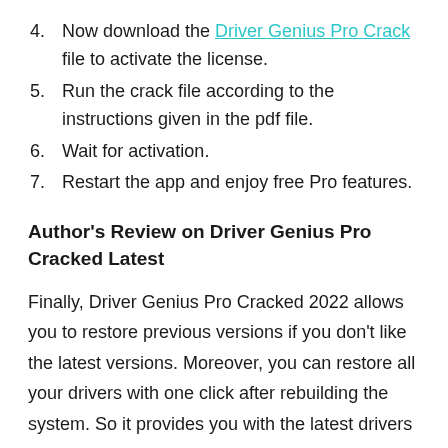4. Now download the Driver Genius Pro Crack file to activate the license.
5. Run the crack file according to the instructions given in the pdf file.
6. Wait for activation.
7. Restart the app and enjoy free Pro features.
Author's Review on Driver Genius Pro Cracked Latest
Finally, Driver Genius Pro Cracked 2022 allows you to restore previous versions if you don't like the latest versions. Moreover, you can restore all your drivers with one click after rebuilding the system. So it provides you with the latest drivers and protects your driving capabilities, it provides the ability to